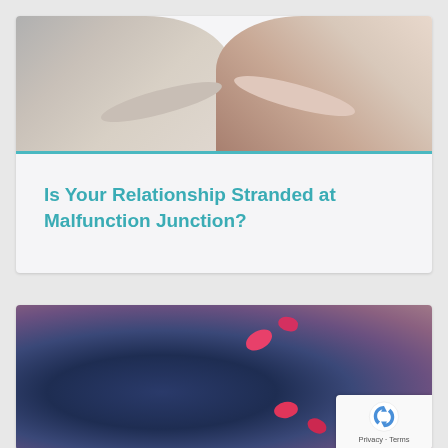[Figure (photo): Two people sitting back to back on a couch, one wearing light gray pants and a white long-sleeve top, the other wearing a pink/rose top and dark pants, suggesting a couple in conflict or disconnection.]
Is Your Relationship Stranded at Malfunction Junction?
[Figure (photo): A blurred close-up photo with dark blue/navy tones, showing what appears to be a person with pink/red flower petals scattered around, suggesting a romantic or emotional theme.]